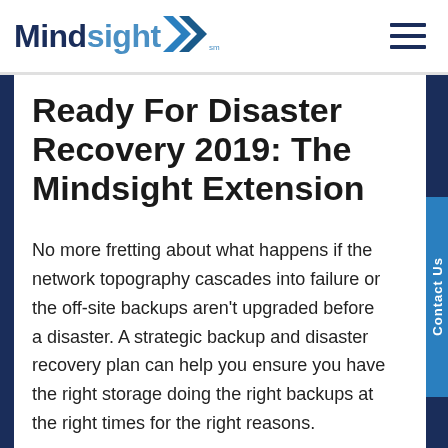Mindsight [logo with arrows]
Ready For Disaster Recovery 2019: The Mindsight Extension
No more fretting about what happens if the network topography cascades into failure or the off-site backups aren't upgraded before a disaster. A strategic backup and disaster recovery plan can help you ensure you have the right storage doing the right backups at the right times for the right reasons.